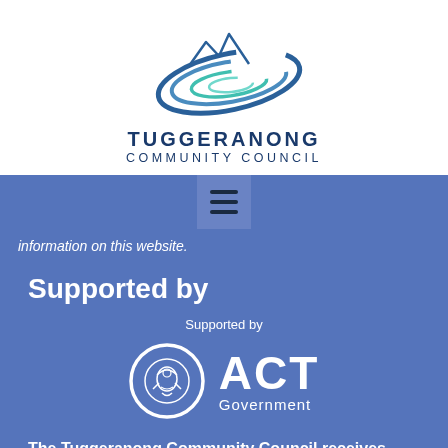[Figure (logo): Tuggeranong Community Council logo: swirling water/ellipse graphic with mountain silhouette in blue and teal tones]
TUGGERANONG COMMUNITY COUNCIL
[Figure (screenshot): Blue navigation bar with hamburger menu icon (three horizontal lines) in a slightly darker box]
information on this website.
Supported by
Supported by
[Figure (logo): ACT Government logo: white circle with government crest inside, next to ACT Government text in white]
The Tuggeranong Community Council receives support and funding from the ACT Government